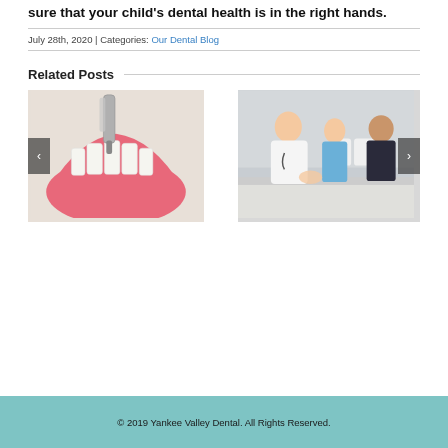sure that your child's dental health is in the right hands.
July 28th, 2020 | Categories: Our Dental Blog
Related Posts
[Figure (photo): Dental drill working on a model of lower teeth and gums, with navigation arrow buttons on left and right sides]
[Figure (photo): A male doctor in white coat showing something to a young girl and woman (likely mother), sitting at a table, with navigation arrow button on right side]
© 2019 Yankee Valley Dental. All Rights Reserved.